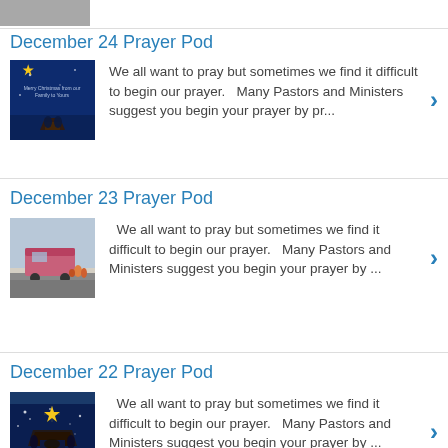[Figure (photo): Partial top image, cropped at top of page]
December 24 Prayer Pod
[Figure (illustration): Christmas card with star and nativity scene on blue background]
We all want to pray but sometimes we find it difficult to begin our prayer.   Many Pastors and Ministers suggest you begin your prayer by pr...
December 23 Prayer Pod
[Figure (photo): Photo of people near a food truck on street]
We all want to pray but sometimes we find it difficult to begin our prayer.   Many Pastors and Ministers suggest you begin your prayer by ...
December 22 Prayer Pod
[Figure (illustration): Christmas illustration with star and nativity scene on dark blue background]
We all want to pray but sometimes we find it difficult to begin our prayer.   Many Pastors and Ministers suggest you begin your prayer by ...